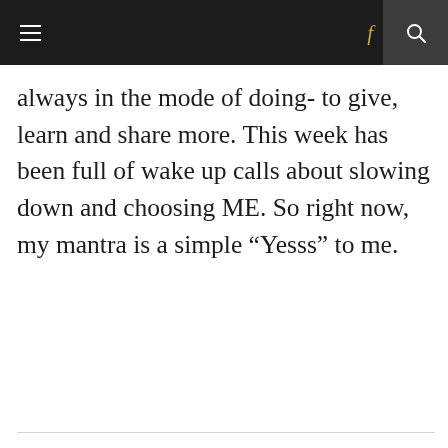≡  f  🔍
always in the mode of doing- to give, learn and share more. This week has been full of wake up calls about slowing down and choosing ME. So right now, my mantra is a simple “Yesss” to me.
LEAVE A REPLY